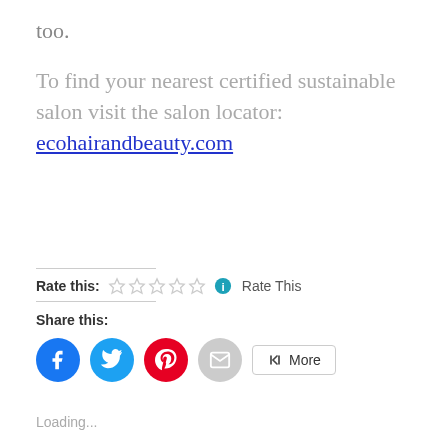too.
To find your nearest certified sustainable salon visit the salon locator: ecohairandbeauty.com
Rate this: ☆☆☆☆☆ Rate This
Share this:
[Figure (infographic): Social sharing buttons: Facebook (blue circle), Twitter (light blue circle), Pinterest (red circle), Email (grey circle), More button]
Loading...